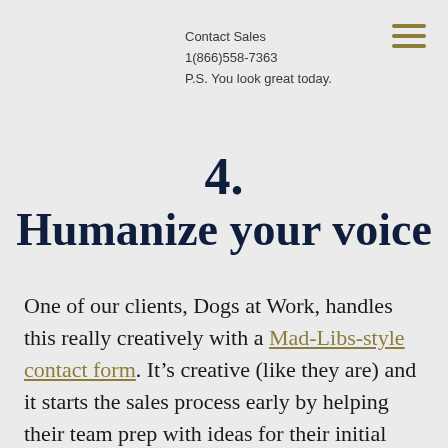Contact Sales
1(866)558-7363
P.S. You look great today.
4.
Humanize your voice
One of our clients, Dogs at Work, handles this really creatively with a Mad-Libs-style contact form. It’s creative (like they are) and it starts the sales process early by helping their team prep with ideas for their initial